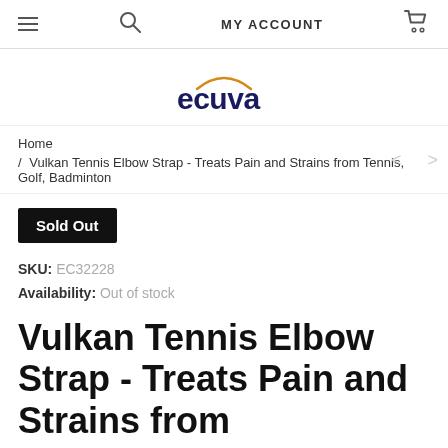MY ACCOUNT
[Figure (logo): ecuva logo with orange arc above text]
Home / Vulkan Tennis Elbow Strap - Treats Pain and Strains from Tennis, Golf, Badminton
Sold Out
SKU: EC32228
Availability: Out of stock
Vulkan Tennis Elbow Strap - Treats Pain and Strains from